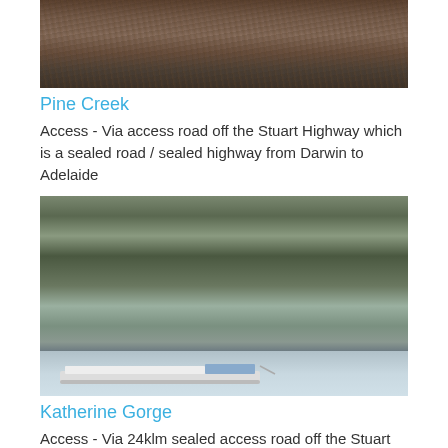[Figure (photo): Photo of Pine Creek showing wooden structures and people in background]
Pine Creek
Access - Via access road off the Stuart Highway which is a sealed road / sealed highway from Darwin to Adelaide
[Figure (photo): Photo of Katherine Gorge showing a boat on the river with rocky cliff faces and vegetation behind]
Katherine Gorge
Access - Via 24klm sealed access road off the Stuart Highway which is a sealed road / sealed highway from Darwin to Adelaide
[Figure (photo): Partial photo of another gorge/landscape in blue tones at bottom of page]